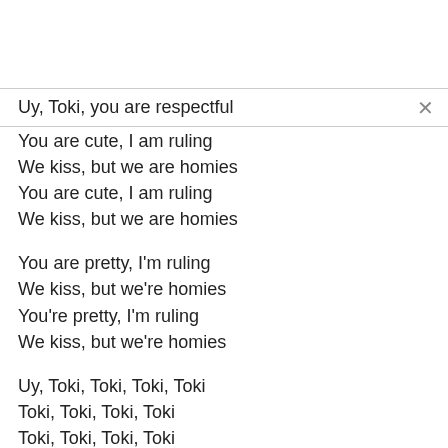Uy, Toki, you are respectful
You are cute, I am ruling
We kiss, but we are homies
You are cute, I am ruling
We kiss, but we are homies
You are pretty, I'm ruling
We kiss, but we're homies
You're pretty, I'm ruling
We kiss, but we're homies
Uy, Toki, Toki, Toki, Toki
Toki, Toki, Toki, Toki
Toki, Toki, Toki, Toki
Toki, Toki , Toki, Toki